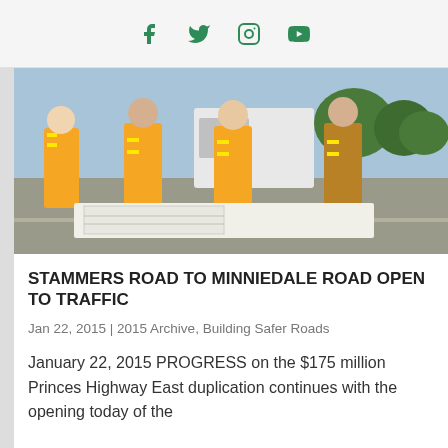Social media icons: Facebook, Twitter, Instagram, YouTube
[Figure (photo): Four men in orange high-visibility safety vests standing on a road, looking at documents spread on a surface. A truck is visible in the background along with trees.]
STAMMERS ROAD TO MINNIEDALE ROAD OPEN TO TRAFFIC
Jan 22, 2015 | 2015 Archive, Building Safer Roads
January 22, 2015 PROGRESS on the $175 million Princes Highway East duplication continues with the opening today of the